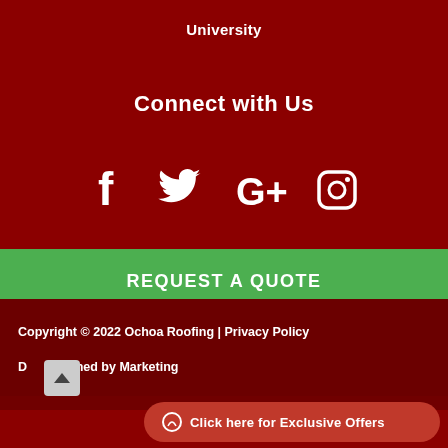University
Connect with Us
[Figure (other): Social media icons: Facebook, Twitter, Google+, Instagram]
REQUEST A QUOTE
Copyright © 2022 Ochoa Roofing | Privacy Policy
D [scroll-up button] ned by Marketing
Click here for Exclusive Offers